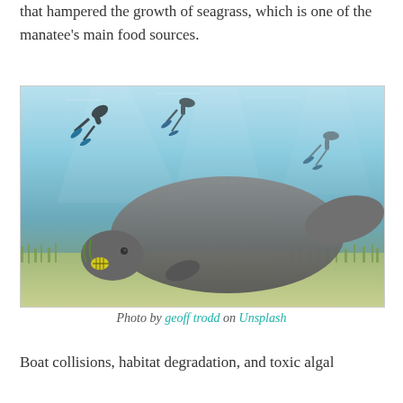that hampered the growth of seagrass, which is one of the manatee's main food sources.
[Figure (photo): Underwater photograph of a large manatee grazing on the seafloor with seagrass, with scuba divers visible in the background in blue-tinted water.]
Photo by geoff trodd on Unsplash
Boat collisions, habitat degradation, and toxic algal